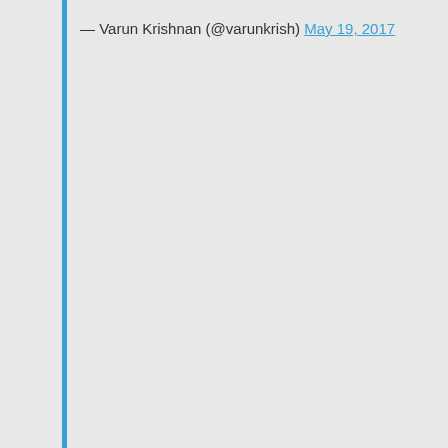— Varun Krishnan (@varunkrish) May 19, 2017